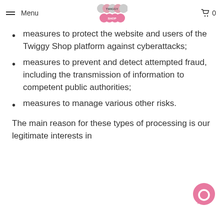Menu | Twiggy Shop logo | 0
measures to protect the website and users of the Twiggy Shop platform against cyberattacks;
measures to prevent and detect attempted fraud, including the transmission of information to competent public authorities;
measures to manage various other risks.
The main reason for these types of processing is our legitimate interests in